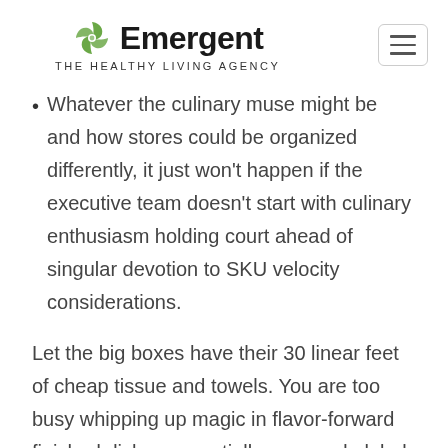Emergent THE HEALTHY LIVING AGENCY
Whatever the culinary muse might be and how stores could be organized differently, it just won't happen if the executive team doesn't start with culinary enthusiasm holding court ahead of singular devotion to SKU velocity considerations.
Let the big boxes have their 30 linear feet of cheap tissue and towels. You are too busy whipping up magic in flavor-forward finished dishes or partially prepared global menus. You've already dialed in the